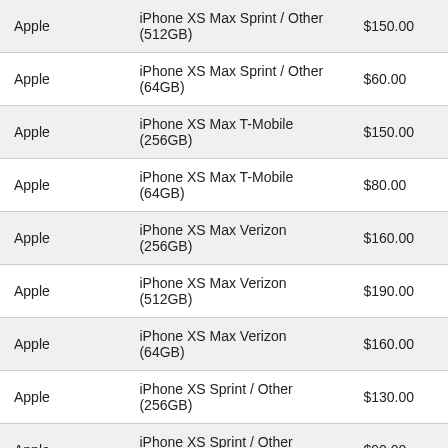| Brand | Model | Price |
| --- | --- | --- |
| Apple | iPhone XS Max Sprint / Other (512GB) | $150.00 |
| Apple | iPhone XS Max Sprint / Other (64GB) | $60.00 |
| Apple | iPhone XS Max T-Mobile (256GB) | $150.00 |
| Apple | iPhone XS Max T-Mobile (64GB) | $80.00 |
| Apple | iPhone XS Max Verizon (256GB) | $160.00 |
| Apple | iPhone XS Max Verizon (512GB) | $190.00 |
| Apple | iPhone XS Max Verizon (64GB) | $160.00 |
| Apple | iPhone XS Sprint / Other (256GB) | $130.00 |
| Apple | iPhone XS Sprint / Other (512GB) | $90.00 |
| Apple | iPhone XS Sprint / Other (64GB) | $30.00 |